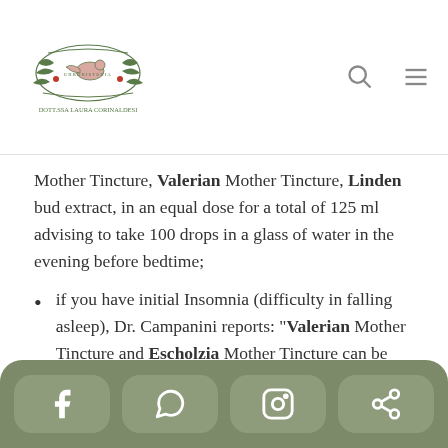Erboristeria - Dott.ssa Laura Corinaldesi [logo and navigation]
Mother Tincture, Valerian Mother Tincture, Linden bud extract, in an equal dose for a total of 125 ml advising to take 100 drops in a glass of water in the evening before bedtime;
if you have initial Insomnia (difficulty in falling asleep), Dr. Campanini reports: “Valerian Mother Tincture and Escholzia Mother Tincture can be taken together, in equal quantities in a single bottle: 30 drops diluted in water in the late afternoon and 50 drops diluted in
Social media links: Facebook, WhatsApp, Instagram, Share